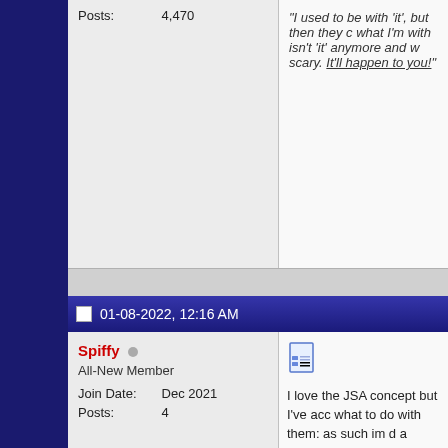Posts:  4,470
"I used to be with 'it', but then they changed what 'it' was and now what I'm with isn't 'it' anymore and what's 'it' seems weird and scary. It'll happen to you!"
01-08-2022, 12:16 AM
Spiffy
All-New Member
Join Date:  Dec 2021
Posts:  4
I love the JSA concept but I've acc what to do with them: as such im d a book. However, I think there's to infinity inc. i love those characters equivalents to any other character Alan, jade and obsidian back in inf surviving JSA characters should p book to dimensionalize the charac requests…keep power girl and hu characters, they are destroyed. Als rather have Sylvester pemberton b